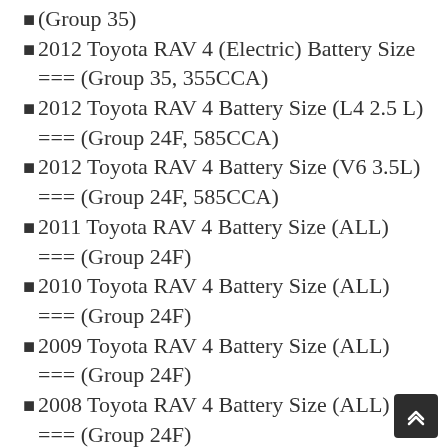(Group 35)
2012 Toyota RAV 4 (Electric) Battery Size === (Group 35, 355CCA)
2012 Toyota RAV 4 Battery Size (L4 2.5 L) === (Group 24F, 585CCA)
2012 Toyota RAV 4 Battery Size (V6 3.5L) === (Group 24F, 585CCA)
2011 Toyota RAV 4 Battery Size (ALL) === (Group 24F)
2010 Toyota RAV 4 Battery Size (ALL) === (Group 24F)
2009 Toyota RAV 4 Battery Size (ALL) === (Group 24F)
2008 Toyota RAV 4 Battery Size (ALL) === (Group 24F)
2007 Toyota RAV 4 Battery Size (ALL) === (Group 24F)
2006 Toyota RAV 4 Battery Size (ALL) ===